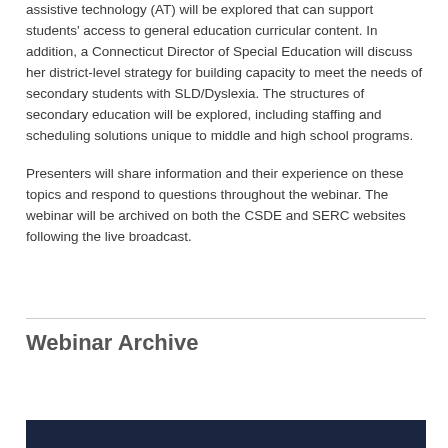assistive technology (AT) will be explored that can support students' access to general education curricular content. In addition, a Connecticut Director of Special Education will discuss her district-level strategy for building capacity to meet the needs of secondary students with SLD/Dyslexia. The structures of secondary education will be explored, including staffing and scheduling solutions unique to middle and high school programs.

Presenters will share information and their experience on these topics and respond to questions throughout the webinar. The webinar will be archived on both the CSDE and SERC websites following the live broadcast.
Webinar Archive
[Figure (other): Dark navy blue bar at the bottom of the page]